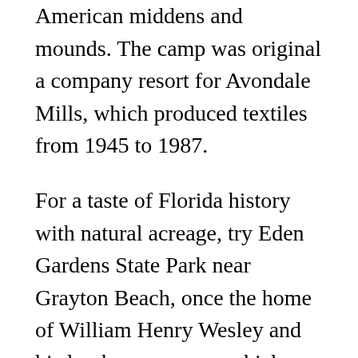American middens and mounds. The camp was original a company resort for Avondale Mills, which produced textiles from 1945 to 1987.
For a taste of Florida history with natural acreage, try Eden Gardens State Park near Grayton Beach, once the home of William Henry Wesley and his lumber company, which took advantage of the area's longleaf pine forests. Wesley's company ceased operation around World War I but the massive 1897 Wesley home and its collection of Louis XVI furniture, plus the landscaped 163 acres, are open to the public. The park provides an ideal place for picnics and fishing is allowed on